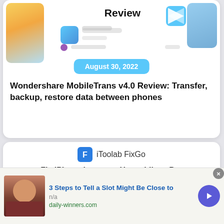[Figure (screenshot): Partial view of a mobile app review article card with blurred screenshot, date badge, and article title for Wondershare MobileTrans v4.0 Review]
Review
August 30, 2022
Wondershare MobileTrans v4.0 Review: Transfer, backup, restore data between phones
[Figure (screenshot): Card showing iToolab FixGo app logo and headline: Fix iPhone Issues at Home Like a Pro, with a macOS app screenshot]
iToolab FixGo
Fix iPhone Issues at Home Like a Pro
[Figure (advertisement): Advertisement bar at bottom with photo of man, headline '3 Steps to Tell a Slot Might Be Close to', source 'n/a', URL 'daily-winners.com', with arrow button and close button]